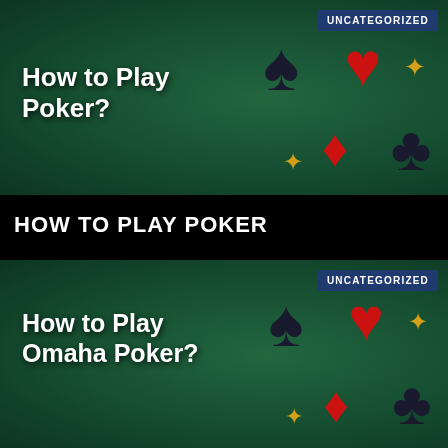[Figure (illustration): Green felt poker table background with card suits (spade, heart, diamond, club) and gold sparkles, with UNCATEGORIZED badge top right and title 'How to Play Poker?']
How to Play Poker?
UNCATEGORIZED
HOW TO PLAY POKER
[Figure (illustration): Green felt poker table background with card suits (spade, heart, diamond, club) and gold sparkles, with UNCATEGORIZED badge top right and title 'How to Play Omaha Poker?']
How to Play Omaha Poker?
UNCATEGORIZED